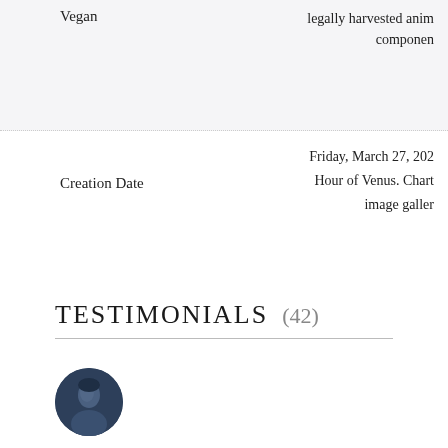|  |  |
| --- | --- |
| Vegan | legally harvested anim components |
|  |  |
| --- | --- |
| Creation Date | Friday, March 27, 202
Hour of Venus. Chart
image gallery |
TESTIMONIALS (42)
[Figure (photo): Circular profile photo of Rachel, dark blue toned portrait image]
Rachel
June 29, 2022